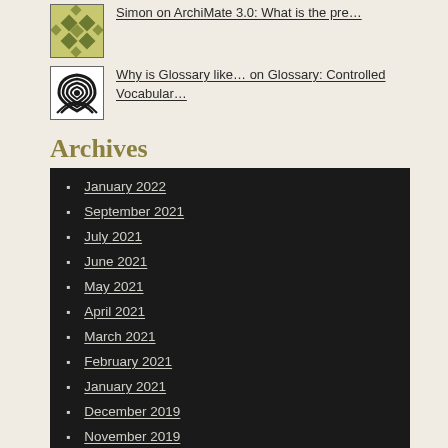[Figure (illustration): Thumbnail image with green geometric diamond/square pattern on light background]
Simon on ArchiMate 3.0: What is the pre…
[Figure (illustration): Thumbnail image with black and white fingerprint/spiral arc pattern on white background]
Why is Glossary like… on Glossary: Controlled Vocabular…
Archives
January 2022
September 2021
July 2021
June 2021
May 2021
April 2021
March 2021
February 2021
January 2021
December 2019
November 2019